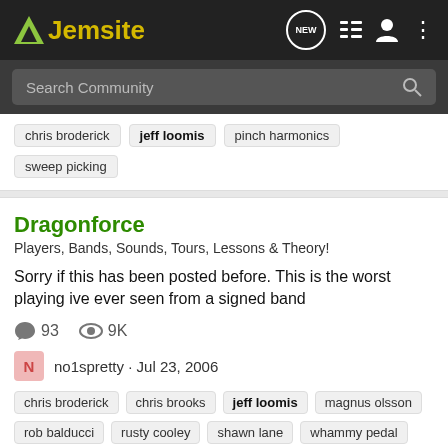Jemsite
Search Community
chris broderick · jeff loomis · pinch harmonics · sweep picking
Dragonforce
Players, Bands, Sounds, Tours, Lessons & Theory!
Sorry if this has been posted before. This is the worst playing ive ever seen from a signed band
93  9K
no1spretty · Jul 23, 2006
chris broderick · chris brooks · jeff loomis · magnus olsson · rob balducci · rusty cooley · shawn lane · whammy pedal
Your Dirty Dozen